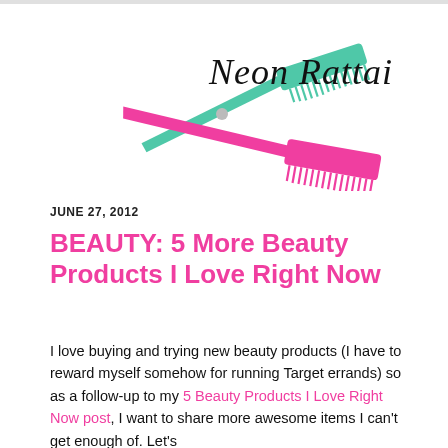[Figure (logo): Neon Rattail blog logo with two combs (one teal, one pink) crossed with scissors, and cursive text 'Neon Rattail' above]
JUNE 27, 2012
BEAUTY: 5 More Beauty Products I Love Right Now
I love buying and trying new beauty products (I have to reward myself somehow for running Target errands) so as a follow-up to my 5 Beauty Products I Love Right Now post, I want to share more awesome items I can't get enough of. Let's